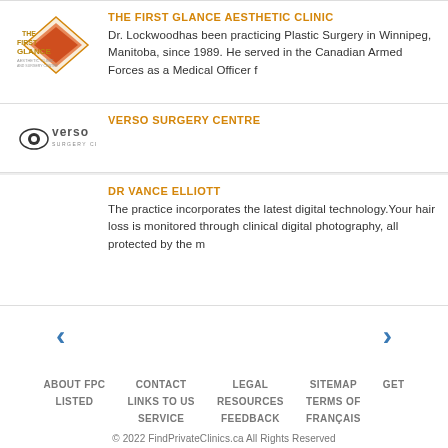[Figure (logo): The First Glance Aesthetic Clinic diamond logo with red/orange design and text]
THE FIRST GLANCE AESTHETIC CLINIC
Dr. Lockwoodhas been practicing Plastic Surgery in Winnipeg, Manitoba, since 1989. He served in the Canadian Armed Forces as a Medical Officer f
[Figure (logo): Verso Surgery Centre logo with eye icon and text]
VERSO SURGERY CENTRE
DR VANCE ELLIOTT
The practice incorporates the latest digital technology. Your hair loss is monitored through clinical digital photography, all protected by the m
ABOUT FPC   CONTACT   LEGAL   SITEMAP   GET LISTED   LINKS TO US   RESOURCES   TERMS OF SERVICE   FEEDBACK   FRANÇAIS
© 2022 FindPrivateClinics.ca All Rights Reserved